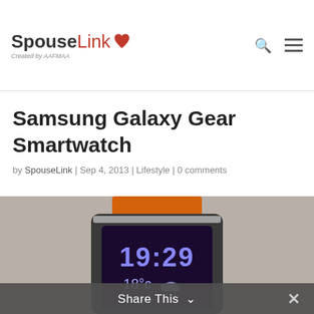SpouseLink — Created by AAFMAA
Samsung Galaxy Gear Smartwatch
by SpouseLink | Sep 4, 2013 | Lifestyle | 0 comments
[Figure (photo): Close-up photo of a Samsung Galaxy Gear smartwatch with an orange band, displaying 19:29 and 18°C with a rain cloud icon on its dark screen.]
Share This ∨